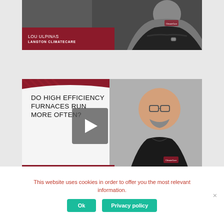[Figure (screenshot): Video thumbnail for Lou Ulpinas from Langton ClimateCare - person in dark shirt with arms crossed, with dark background]
[Figure (screenshot): Video thumbnail for Mark Haagsma from Lambton ClimateCare asking 'Do High Efficiency Furnaces Run More Often?' with play button overlay]
This website uses cookies in order to offer you the most relevant information.
Ok
Privacy policy